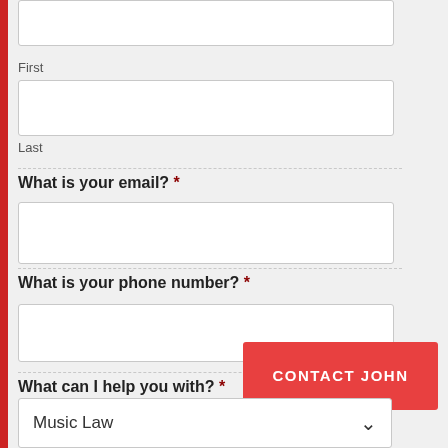First
Last
What is your email? *
What is your phone number? *
What can I help you with? *
Music Law
CONTACT JOHN